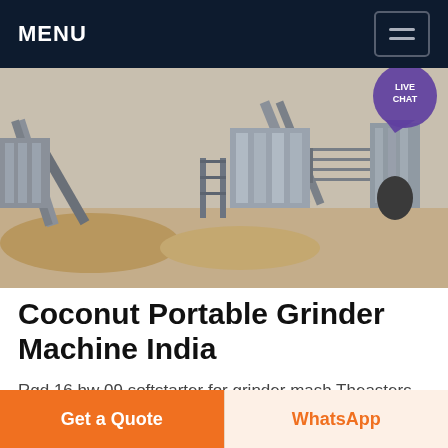MENU
[Figure (photo): Industrial mining/crushing plant with conveyor belts, steel structures, stairs, and piles of sand/gravel. Live Chat bubble visible in top right corner of image.]
Coconut Portable Grinder Machine India
Rqd 16 hw 09 softstarter for grinder mash Theasters grinder machine fou use in to fertilizersqd 16 hw 09 Softstarter for grinder mash mesin open mill roll diameter 16 18 inch crusher grinder machine fortuna specima